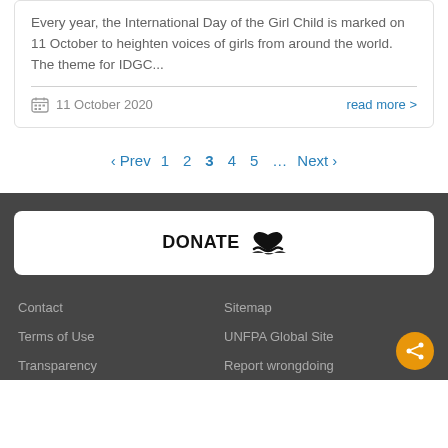Every year, the International Day of the Girl Child is marked on 11 October to heighten voices of girls from around the world. The theme for IDGC...
11 October 2020
read more >
‹ Prev  1  2  3  4  5  …  Next ›
DONATE
Contact
Sitemap
Terms of Use
UNFPA Global Site
Transparency
Report wrongdoing